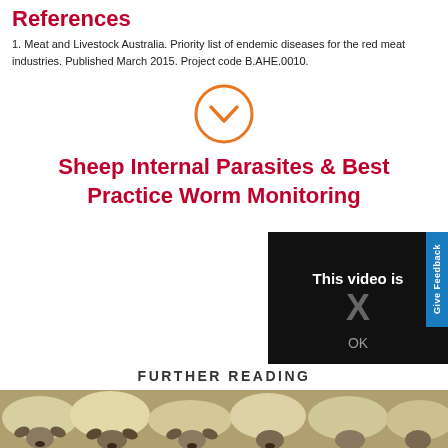References
1. Meat and Livestock Australia. Priority list of endemic diseases for the red meat industries. Published March 2015. Project code B.AHE.0010.
[Figure (illustration): Orange circle with a downward-pointing chevron (expand/collapse icon)]
Sheep Internal Parasites & Best Practice Worm Monitoring
[Figure (screenshot): Black video player box showing text 'This video is' with an X symbol and 'OK' below it]
FURTHER READING
[Figure (photo): A crowd of white sheep photographed from above/front, showing their woolly heads and faces]